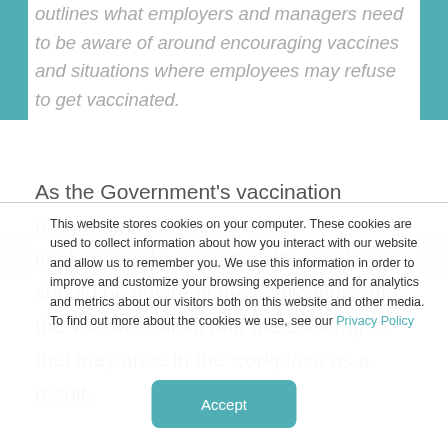outlines what employers and managers need to be aware of around encouraging vaccines and situations where employees may refuse to get vaccinated.
As the Government's vaccination programme continues to be implemented across the UK, employers should be aware of the implications of the vaccine rollout and the challenges that may arise in the workplace as a result.
This website stores cookies on your computer. These cookies are used to collect information about how you interact with our website and allow us to remember you. We use this information in order to improve and customize your browsing experience and for analytics and metrics about our visitors both on this website and other media. To find out more about the cookies we use, see our Privacy Policy
Accept